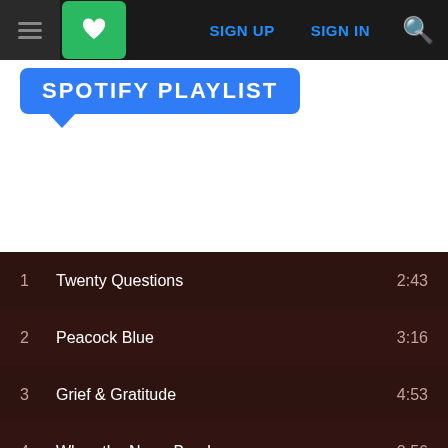SIGN UP  SIGN IN
SPOTIFY PLAYLIST
[Figure (screenshot): Spotify player widget showing 'Top tracks for Alli Bean' with album art thumbnail, play button, progress bar, and playback controls]
1  Twenty Questions  2:43
2  Peacock Blue  3:16
3  Grief & Gratitude  4:53
4  When the News Breaks  2:56
5  Not My Problem  2:34
6  Two Birds  3:54
7  Another Way  2:58
8  Pink Diamonds  3:48